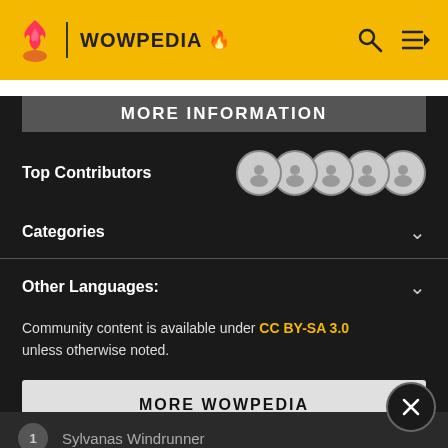WOWPEDIA
MORE INFORMATION
Top Contributors
Categories
Other Languages:
Community content is available under CC BY-SA 3.0 unless otherwise noted.
MORE WOWPEDIA
1 Sylvanas Windrunner